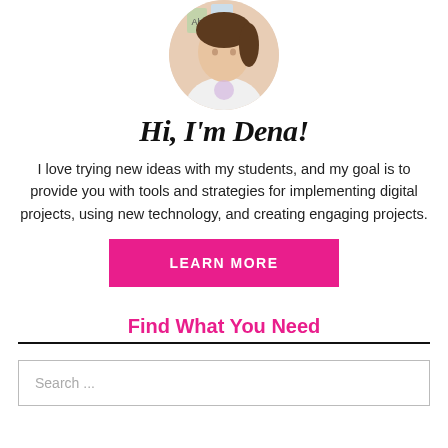[Figure (photo): Circular profile photo of a woman (Dena) wearing a white shirt with colorful alphabet/periodic table cards in the background]
Hi, I'm Dena!
I love trying new ideas with my students, and my goal is to provide you with tools and strategies for implementing digital projects, using new technology, and creating engaging projects.
[Figure (other): Pink 'LEARN MORE' button]
Find What You Need
Search ...